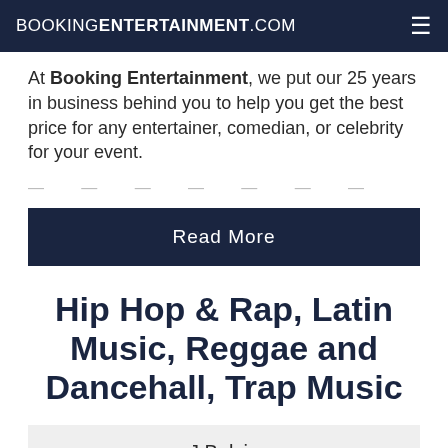BOOKINGENTERTAINMENT.COM
At Booking Entertainment, we put our 25 years in business behind you to help you get the best price for any entertainer, comedian, or celebrity for your event.
— ... — ... — ... — ... —
Read More
Hip Hop & Rap, Latin Music, Reggae and Dancehall, Trap Music
J Balvin
Karol G